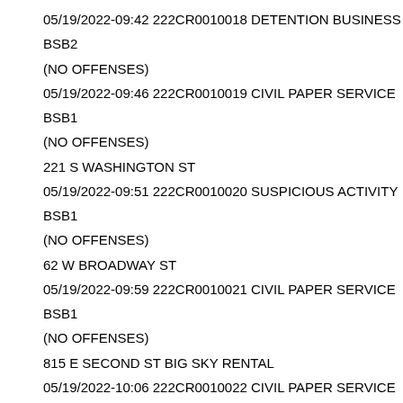05/19/2022-09:42 222CR0010018 DETENTION BUSINESS
BSB2
(NO OFFENSES)
05/19/2022-09:46 222CR0010019 CIVIL PAPER SERVICE
BSB1
(NO OFFENSES)
221 S WASHINGTON ST
05/19/2022-09:51 222CR0010020 SUSPICIOUS ACTIVITY
BSB1
(NO OFFENSES)
62 W BROADWAY ST
05/19/2022-09:59 222CR0010021 CIVIL PAPER SERVICE
BSB1
(NO OFFENSES)
815 E SECOND ST BIG SKY RENTAL
05/19/2022-10:06 222CR0010022 CIVIL PAPER SERVICE
BSB1